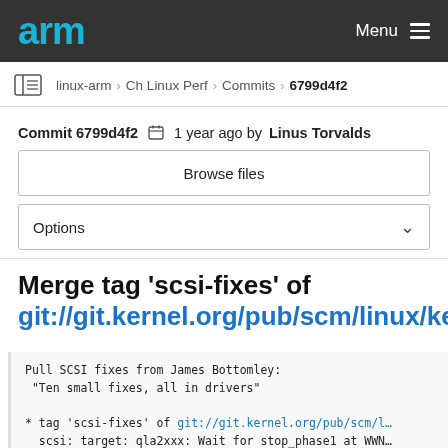arm   Menu
linux-arm › Ch Linux Perf › Commits › 6799d4f2
Commit 6799d4f2  1 year ago by Linus Torvalds
Browse files
Options
Merge tag 'scsi-fixes' of git://git.kernel.org/pub/scm/linux/ker…
Pull SCSI fixes from James Bottomley:
 "Ten small fixes, all in drivers"

* tag 'scsi-fixes' of git://git.kernel.org/pub/scm/l…
  scsi: target: qla2xxx: Wait for stop_phase1 at WWN…
  scsi: hisi_sas: Drop free_irq() of devm_request_ir…